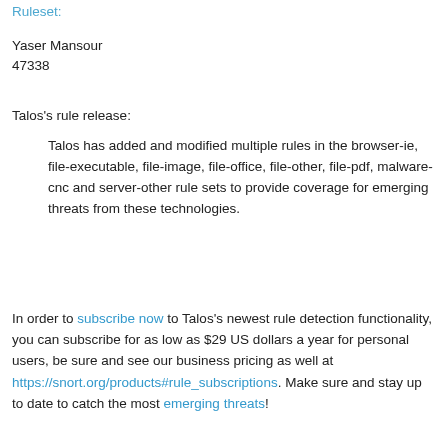Ruleset:
Yaser Mansour
47338
Talos's rule release:
Talos has added and modified multiple rules in the browser-ie, file-executable, file-image, file-office, file-other, file-pdf, malware-cnc and server-other rule sets to provide coverage for emerging threats from these technologies.
In order to subscribe now to Talos's newest rule detection functionality, you can subscribe for as low as $29 US dollars a year for personal users, be sure and see our business pricing as well at https://snort.org/products#rule_subscriptions. Make sure and stay up to date to catch the most emerging threats!